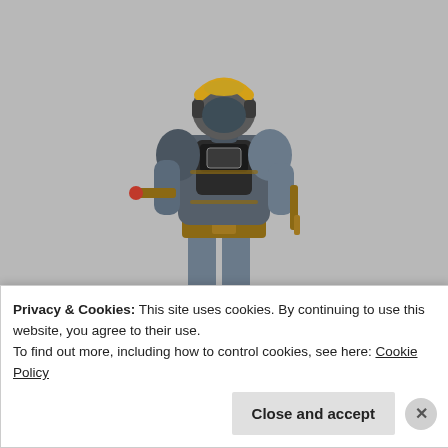[Figure (photo): A painted miniature figurine seen from the back, wearing a dark grey armored suit with gold/brass trim, a yellow and gold helmet, and carrying weapons. The background is a plain light grey.]
Privacy & Cookies: This site uses cookies. By continuing to use this website, you agree to their use.
To find out more, including how to control cookies, see here: Cookie Policy
Close and accept